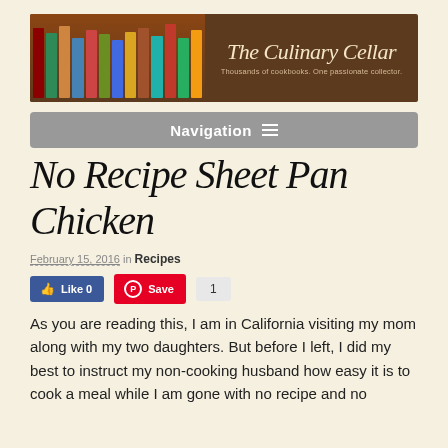[Figure (illustration): The Culinary Cellar blog banner with stacked cookbook spines on the left and cursive logo text 'The Culinary Cellar' with subtitle 'Thousands of cookbooks. One passionate collector.' on a brown background]
Navigation ≡
No Recipe Sheet Pan Chicken
February 15, 2016 in Recipes
Like 0  Save  1
As you are reading this, I am in California visiting my mom along with my two daughters. But before I left, I did my best to instruct my non-cooking husband how easy it is to cook a meal while I am gone with no recipe and no